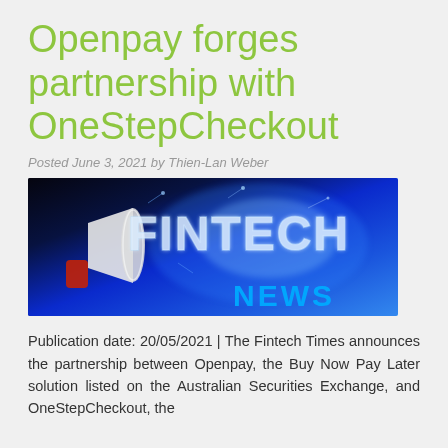Openpay forges partnership with OneStepCheckout
Posted June 3, 2021 by Thien-Lan Weber
[Figure (photo): Fintech News banner image showing a megaphone with glowing FINTECH text on blue digital background with NEWS text overlay]
Publication date: 20/05/2021 | The Fintech Times announces the partnership between Openpay, the Buy Now Pay Later solution listed on the Australian Securities Exchange, and OneStepCheckout, the